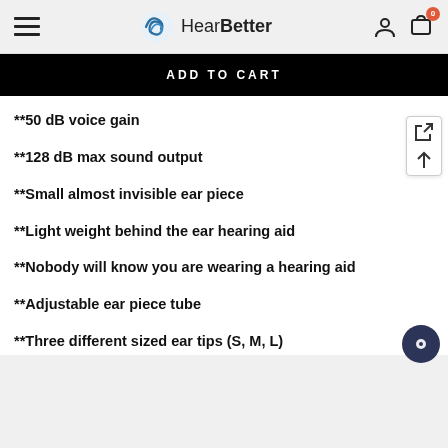HearBetter — navigation header with hamburger menu, logo, user icon, and cart (0 items)
ADD TO CART
**50 dB voice gain
**128 dB max sound output
**Small almost invisible ear piece
**Light weight behind the ear hearing aid
**Nobody will know you are wearing a hearing aid
**Adjustable ear piece tube
**Three different sized ear tips (S, M, L)